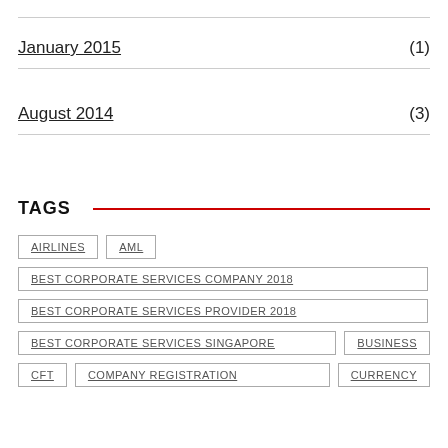January 2015 (1)
August 2014 (3)
TAGS
AIRLINES
AML
BEST CORPORATE SERVICES COMPANY 2018
BEST CORPORATE SERVICES PROVIDER 2018
BEST CORPORATE SERVICES SINGAPORE
BUSINESS
CFT
COMPANY REGISTRATION
CURRENCY